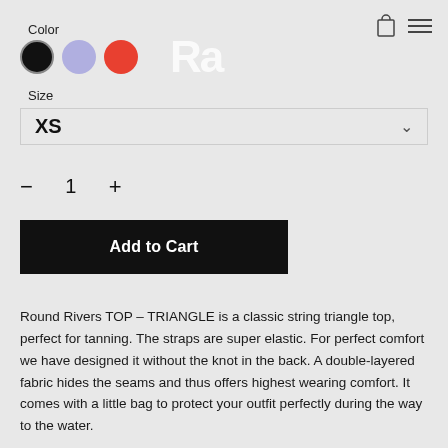Color
[Figure (illustration): Three color swatches: black (selected with border), lavender/purple, and red/orange circles]
[Figure (logo): Brand logo in white text, partially visible, appears to be a bold stylized 'Ra' or similar letters]
Size
XS
— 1 +
Add to Cart
Round Rivers TOP – TRIANGLE is a classic string triangle top, perfect for tanning. The straps are super elastic. For perfect comfort we have designed it without the knot in the back. A double-layered fabric hides the seams and thus offers highest wearing comfort. It comes with a little bag to protect your outfit perfectly during the way to the water.